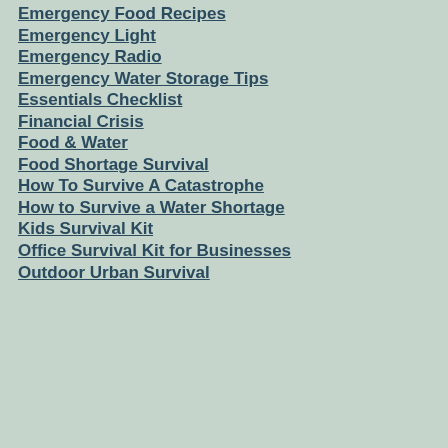Emergency Food Recipes
Emergency Light
Emergency Radio
Emergency Water Storage Tips
Essentials Checklist
Financial Crisis
Food & Water
Food Shortage Survival
How To Survive A Catastrophe
How to Survive a Water Shortage
Kids Survival Kit
Office Survival Kit for Businesses
Outdoor Urban Survival